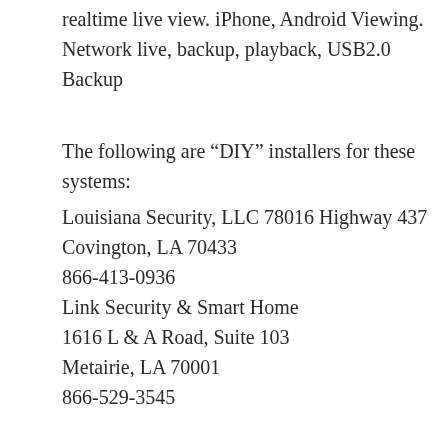realtime live view. iPhone, Android Viewing. Network live, backup, playback, USB2.0 Backup
The following are “DIY” installers for these systems:
Louisiana Security, LLC 78016 Highway 437 Covington, LA 70433 866-413-0936 Link Security & Smart Home 1616 L & A Road, Suite 103 Metairie, LA 70001 866-529-3545